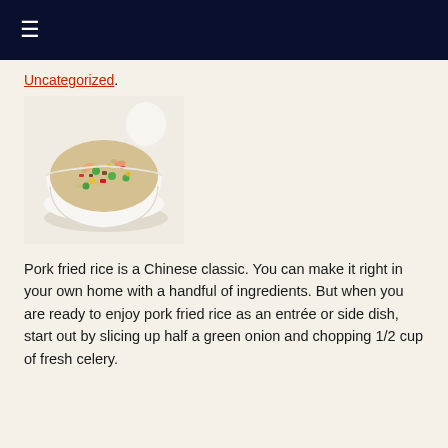☰
Uncategorized.
[Figure (photo): A white bowl of pork fried rice with shrimp, vegetables including green peas and red peppers, on a light background with eggs visible behind the bowl.]
Pork fried rice is a Chinese classic. You can make it right in your own home with a handful of ingredients. But when you are ready to enjoy pork fried rice as an entrée or side dish, start out by slicing up half a green onion and chopping 1/2 cup of fresh celery.